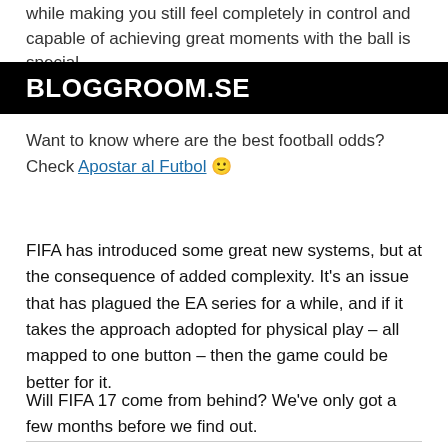while making you still feel completely in control and capable of achieving great moments with the ball is special.
BLOGGROOM.SE
Want to know where are the best football odds? Check Apostar al Futbol 🙂
FIFA has introduced some great new systems, but at the consequence of added complexity. It's an issue that has plagued the EA series for a while, and if it takes the approach adopted for physical play – all mapped to one button – then the game could be better for it.
Will FIFA 17 come from behind? We've only got a few months before we find out.
This entry was posted in spel and tagged fifa 16, fifa 17, PES on 28 juli, 2016.